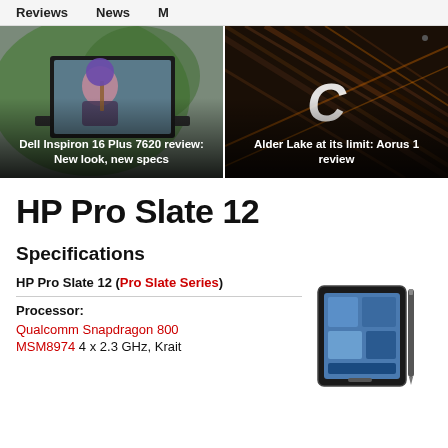Reviews  News  M
[Figure (photo): Dell Inspiron 16 Plus 7620 laptop open showing a woman with blue hair playing violin on a green background]
Dell Inspiron 16 Plus 7620 review: New look, new specs
[Figure (photo): Aorus laptop closed showing dark wood-pattern lid with Gigabyte C logo]
Alder Lake at its limit: Aorus 1 review
HP Pro Slate 12
Specifications
HP Pro Slate 12 (Pro Slate Series)
Processor: Qualcomm Snapdragon 800 MSM8974 4 x 2.3 GHz, Krait
[Figure (photo): HP Pro Slate 12 tablet standing upright with stylus, showing the device's screen with blue background]